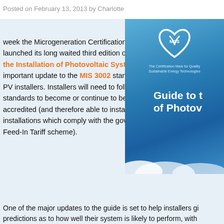Posted on February 13, 2013 by Charlotte
Last week the Microgeneration Certification Scheme launched its long waited third edition of the Guide to the Installation of Photovoltaic Systems and an important update to the MIS 3002 standards for solar PV installers. Installers will need to follow the new standards to become or continue to be MCS accredited (and therefore able to install solar installations which comply with the government's Feed-In Tariff scheme).
[Figure (photo): Cover of the MCS 'Guide to the Installation of Photovoltaic Systems' booklet with blue gradient background, MCS heart logo, and white bold title text.]
One of the major updates to the guide is set to help installers give predictions as to how well their system is likely to perform, with method and guidance on how to safeguard systems against pe…